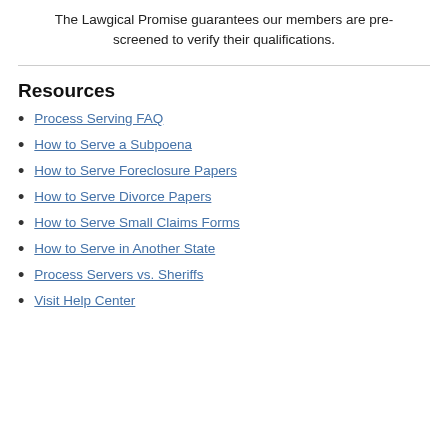The Lawgical Promise guarantees our members are pre-screened to verify their qualifications.
Resources
Process Serving FAQ
How to Serve a Subpoena
How to Serve Foreclosure Papers
How to Serve Divorce Papers
How to Serve Small Claims Forms
How to Serve in Another State
Process Servers vs. Sheriffs
Visit Help Center